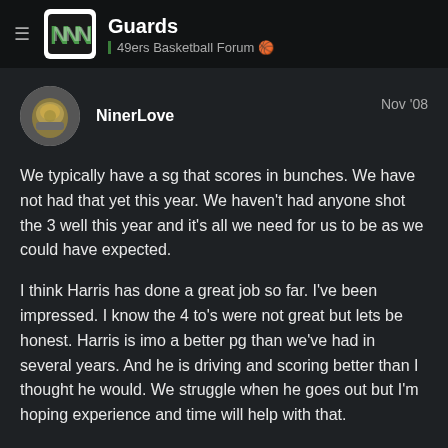Guards | 49ers Basketball Forum
NinerLove  Nov '08
We typically have a sg that scores in bunches. We have not had that yet this year. We haven't had anyone shot the 3 well this year and it's all we need for us to be as we could have expected.

I think Harris has done a great job so far. I've been impressed. I know the 4 to's were not great but lets be honest. Harris is imo a better pg than we've had in several years. And he is driving and scoring better than I thought he would. We struggle when he goes out but I'm hoping experience and time will help with that.

We just need to make open shots. That and a few 3's. period
7/52